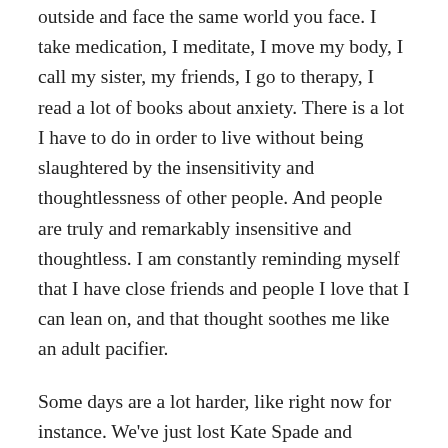outside and face the same world you face. I take medication, I meditate, I move my body, I call my sister, my friends, I go to therapy, I read a lot of books about anxiety. There is a lot I have to do in order to live without being slaughtered by the insensitivity and thoughtlessness of other people. And people are truly and remarkably insensitive and thoughtless. I am constantly reminding myself that I have close friends and people I love that I can lean on, and that thought soothes me like an adult pacifier.
Some days are a lot harder, like right now for instance. We've just lost Kate Spade and Anthony Bourdain to depression (which is the underside of anxiety), which I also suffer from. My book, a memoir about growing up with an undiagnosed panic disorder, came out today. Some people will like it and other people won't. I am